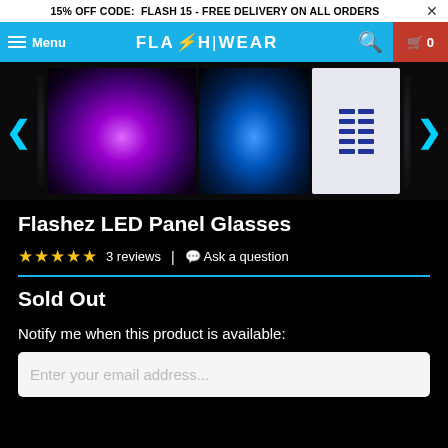15% OFF CODE:  FLASH 15 - FREE DELIVERY ON ALL ORDERS
Menu  FLASH|WEAR  0
[Figure (photo): Product image carousel showing Flashez LED Panel Glasses in multiple views: pink/purple glowing, blue glowing, catalog sheet, and dark variant]
Flashez LED Panel Glasses
★★★★★ 3 reviews  |  Ask a question
Sold Out
Notify me when this product is available:
Enter your email address...